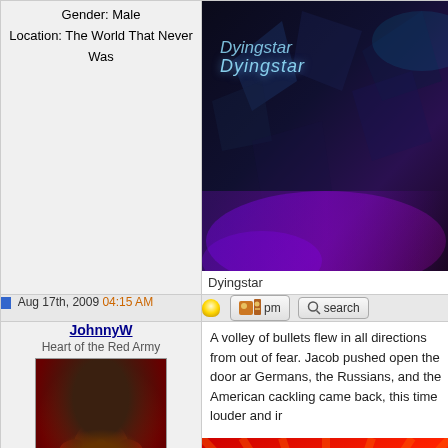Gender: Male
Location: The World That Never Was
[Figure (photo): Dark sci-fi image with purple/blue lighting, labeled 'Dyingstar' in light blue italic text]
Dyingstar
Aug 17th, 2009 04:15 AM
[Figure (screenshot): Forum action buttons: lightbulb icon, pm button with user icons, search button]
JohnnyW
Heart of the Red Army
[Figure (photo): Avatar image of cartoon alien/creature in red military uniform]
Gender: Male
Location: Stalingrad
A volley of bullets flew in all directions from out of fear. Jacob pushed open the door ar Germans, the Russians, and the American cackling came back, this time louder and ir
[Figure (illustration): Red propaganda-style illustration with YOU! text and BETRAYED text vertically, sun rays, and yellow star]